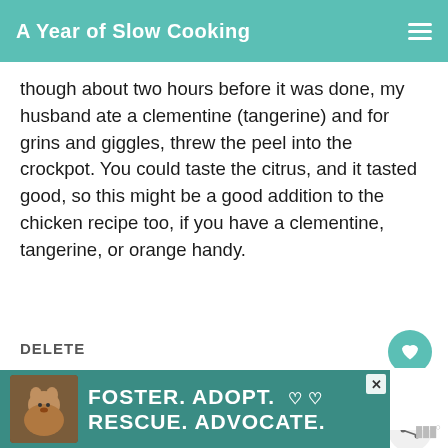A Year of Slow Cooking
though about two hours before it was done, my husband ate a clementine (tangerine) and for grins and giggles, threw the peel into the crockpot. You could taste the citrus, and it tasted good, so this might be a good addition to the chicken recipe too, if you have a clementine, tangerine, or orange handy.
DELETE
1
ANONYMOUS
1/02/2009
i made this tonight. i added potatoes to it...
WHAT'S NEXT → Whole Chicken in t...
[Figure (infographic): Foster. Adopt. Rescue. Advocate. advertisement banner with a dog photo.]